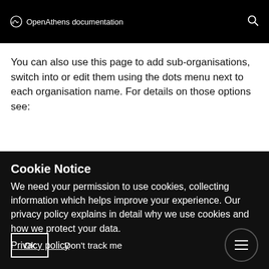OpenAthens documentation
You can also use this page to add sub-organisations, switch into or edit them using the dots menu next to each organisation name.  For details on those options see:
Cookie Notice
We need your permission to use cookies, collecting information which helps improve your experience. Our privacy policy explains in detail why we use cookies and how we protect your data.
Privacy policy